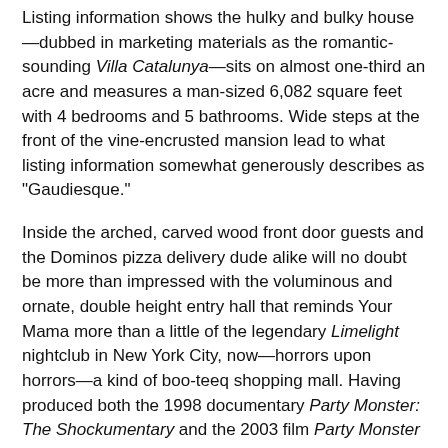Listing information shows the hulky and bulky house—dubbed in marketing materials as the romantic-sounding Villa Catalunya—sits on almost one-third an acre and measures a man-sized 6,082 square feet with 4 bedrooms and 5 bathrooms. Wide steps at the front of the vine-encrusted mansion lead to what listing information somewhat generously describes as "Gaudiesque."
Inside the arched, carved wood front door guests and the Dominos pizza delivery dude alike will no doubt be more than impressed with the voluminous and ornate, double height entry hall that reminds Your Mama more than a little of the legendary Limelight nightclub in New York City, now—horrors upon horrors—a kind of boo-teeq shopping mall. Having produced both the 1998 documentary Party Monster: The Shockumentary and the 2003 film Party Monster about club kid and Limelight employee turned drug addled murderer Michael Alig it seems almost inconceivable Mister Bailey didn't also make that visual connection but, of course, Your Mama don't know nuthin' about birthin' babies or, certainly, what goes on in Mister Bailey's brain.